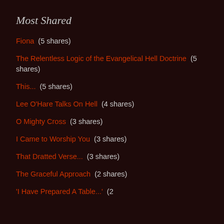Most Shared
Fiona  (5 shares)
The Relentless Logic of the Evangelical Hell Doctrine  (5 shares)
This...  (5 shares)
Lee O'Hare Talks On Hell  (4 shares)
O Mighty Cross  (3 shares)
I Came to Worship You  (3 shares)
That Dratted Verse...  (3 shares)
The Graceful Approach  (2 shares)
'I Have Prepared A Table...'  (2